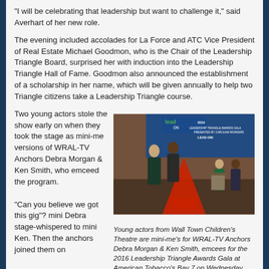“I will be celebrating that leadership but want to challenge it,” said Averhart of her new role.
The evening included accolades for La Force and ATC Vice President of Real Estate Michael Goodmon, who is the Chair of the Leadership Triangle Board, surprised her with induction into the Leadership Triangle Hall of Fame. Goodmon also announced the establishment of a scholarship in her name, which will be given annually to help two Triangle citizens take a Leadership Triangle course.
Two young actors stole the show early on when they took the stage as mini-me versions of WRAL-TV Anchors Debra Morgan & Ken Smith, who emceed the program.
[Figure (photo): Photo of young actors on stage at the 2016 Leadership Triangle Awards Gala at American Tobacco's Bay 7, with a 'Lead ON' banner in the background.]
Young actors from Wall Town Children’s Theatre are mini-me’s for WRAL-TV Anchors Debra Morgan & Ken Smith, emcees for the 2016 Leadership Triangle Awards Gala at American Tobacco’s Bay 7 on Wednesday, December 7.
“Can you believe we got this gig”? mini Debra stage-whispered to mini Ken. Then the anchors joined them on